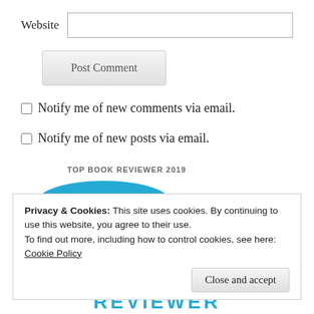Website
Post Comment
Notify me of new comments via email.
Notify me of new posts via email.
TOP BOOK REVIEWER 2019
Privacy & Cookies: This site uses cookies. By continuing to use this website, you agree to their use.
To find out more, including how to control cookies, see here:
Cookie Policy
Close and accept
[Figure (other): Blue arc/badge top of Top Book Reviewer 2019 badge, partially visible]
REVIEWER